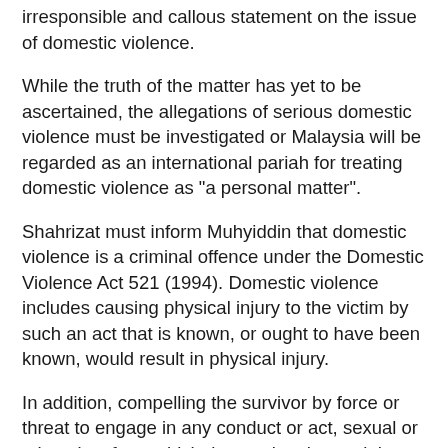irresponsible and callous statement on the issue of domestic violence.
While the truth of the matter has yet to be ascertained, the allegations of serious domestic violence must be investigated or Malaysia will be regarded as an international pariah for treating domestic violence as "a personal matter".
Shahrizat must inform Muhyiddin that domestic violence is a criminal offence under the Domestic Violence Act 521 (1994). Domestic violence includes causing physical injury to the victim by such an act that is known, or ought to have been known, would result in physical injury.
In addition, compelling the survivor by force or threat to engage in any conduct or act, sexual or otherwise, from which the survivor has a right to abstain is also criminal under Malaysian laws. Those found guilty of domestic violence are to be sentenced in accordance with our Penal Code.
To redeem our international reputation, Muhyiddin must